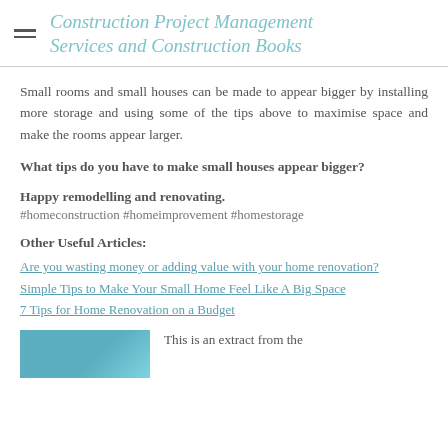Construction Project Management Services and Construction Books
Small rooms and small houses can be made to appear bigger by installing more storage and using some of the tips above to maximise space and make the rooms appear larger.
What tips do you have to make small houses appear bigger?
Happy remodelling and renovating.
#homeconstruction #homeimprovement #homestorage
Other Useful Articles:
Are you wasting money or adding value with your home renovation?
Simple Tips to Make Your Small Home Feel Like A Big Space
7 Tips for Home Renovation on a Budget
[Figure (photo): A partial image/screenshot with teal/blue color at the bottom of the page]
This is an extract from the